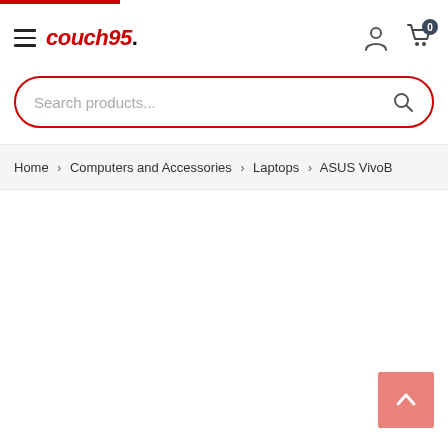couch95.
Search products...
Home > Computers and Accessories > Laptops > ASUS VivoB
[Figure (other): Back to top arrow button (pink/salmon colored square with upward chevron)]